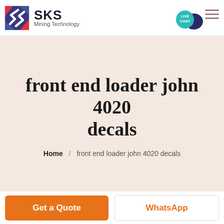[Figure (logo): SKS Mining Technology company logo with red/blue geometric S icon and text 'SKS Mining Technology']
front end loader john 4020 decals
Home / front end loader john 4020 decals
Get a Quote
WhatsApp